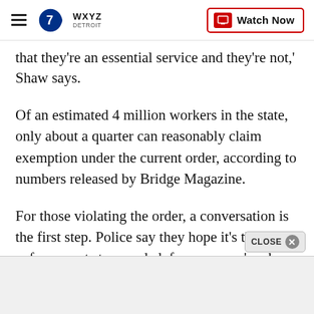WXYZ Detroit — Watch Now
that they're an essential service and they're not,' Shaw says.
Of an estimated 4 million workers in the state, only about a quarter can reasonably claim exemption under the current order, according to numbers released by Bridge Magazine.
For those violating the order, a conversation is the first step. Police say they hope it's the only enforcement step needed, for everyone's sake.
"If we keep going out unnecessarily, this virus is g…